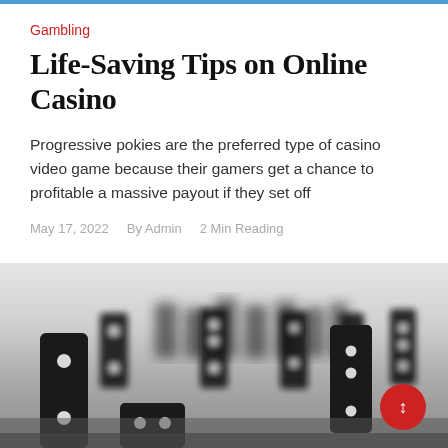Gambling
Life-Saving Tips on Online Casino
Progressive pokies are the preferred type of casino video game because their gamers get a chance to profitable a massive payout if they set off
May 17, 2022   By Admin   2 Min Reading
[Figure (photo): Black and white photo of domino tiles standing in a row, with a red circular button in the lower right corner.]